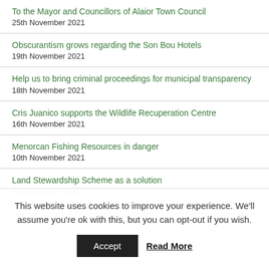To the Mayor and Councillors of Alaior Town Council
25th November 2021
Obscurantism grows regarding the Son Bou Hotels
19th November 2021
Help us to bring criminal proceedings for municipal transparency
18th November 2021
Cris Juanico supports the Wildlife Recuperation Centre
16th November 2021
Menorcan Fishing Resources in danger
10th November 2021
Land Stewardship Scheme as a solution
4th November 2021
We are presenting a People's Legislative Initiative to Parliament to
This website uses cookies to improve your experience. We'll assume you're ok with this, but you can opt-out if you wish.